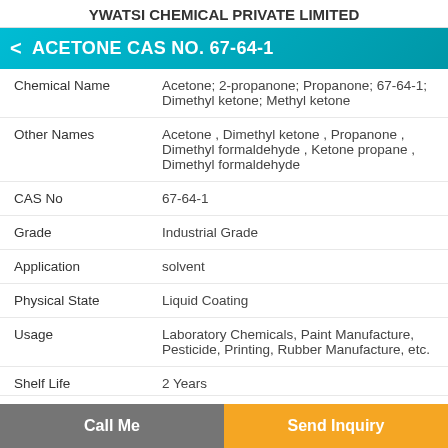YWATSI CHEMICAL PRIVATE LIMITED
ACETONE CAS NO. 67-64-1
| Field | Value |
| --- | --- |
| Chemical Name | Acetone; 2-propanone; Propanone; 67-64-1; Dimethyl ketone; Methyl ketone |
| Other Names | Acetone , Dimethyl ketone , Propanone , Dimethyl formaldehyde , Ketone propane , Dimethyl formaldehyde |
| CAS No | 67-64-1 |
| Grade | Industrial Grade |
| Application | solvent |
| Physical State | Liquid Coating |
| Usage | Laboratory Chemicals, Paint Manufacture, Pesticide, Printing, Rubber Manufacture, etc. |
| Shelf Life | 2 Years |
Call Me | Send Inquiry